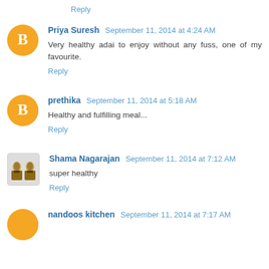Reply
Priya Suresh September 11, 2014 at 4:24 AM
Very healthy adai to enjoy without any fuss, one of my favourite.
Reply
prethika September 11, 2014 at 5:18 AM
Healthy and fulfilling meal...
Reply
Shama Nagarajan September 11, 2014 at 7:12 AM
super healthy
Reply
nandoos kitchen September 11, 2014 at 7:17 AM